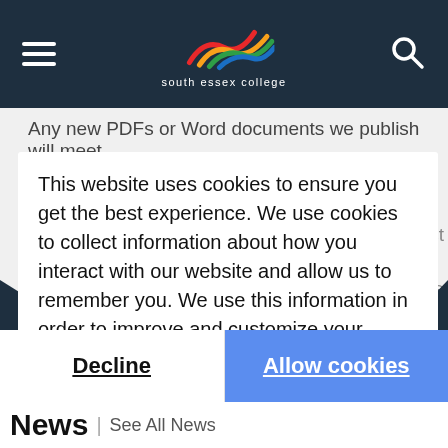South Essex College navigation bar with logo, hamburger menu, and search icon
Any new PDFs or Word documents we publish will meet
This website uses cookies to ensure you get the best experience. We use cookies to collect information about how you interact with our website and allow us to remember you. We use this information in order to improve and customize your browsing experience and for analytics and metrics about our visitors. To find out more about the cookies we use, see our Privacy Policy.
Learn more
Decline
Allow cookies
News | See All News